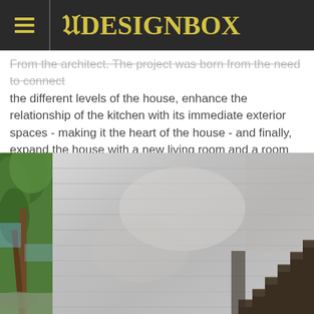8DESIGNBOX
From the architect. The project was born from the need to connect the different levels of the house, enhance the relationship of the kitchen with its immediate exterior spaces - making it the heart of the house - and finally, expand the house with a new living room and a room connected with the nice views of the landscape.
[Figure (photo): Exterior view of a concrete house wall with horizontal board-formed texture, a staircase with dark wooden/concrete steps on the right side, and pine trees with blue sky visible on the left edge.]